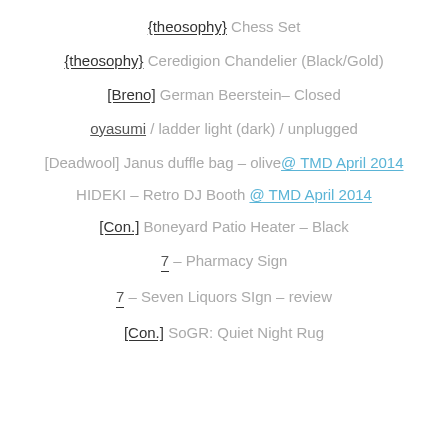{theosophy} Chess Set
{theosophy} Ceredigion Chandelier (Black/Gold)
[Breno] German Beerstein– Closed
oyasumi / ladder light (dark) / unplugged
[Deadwool] Janus duffle bag – olive@ TMD April 2014
HIDEKI – Retro DJ Booth @ TMD April 2014
[Con.] Boneyard Patio Heater – Black
7 – Pharmacy Sign
7 – Seven Liquors SIgn – review
[Con.] SoGR: Quiet Night Rug